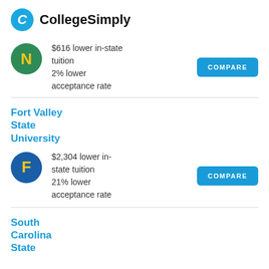CollegeSimply
$616 lower in-state tuition
2% lower acceptance rate
COMPARE
Fort Valley State University
$2,304 lower in-state tuition
21% lower acceptance rate
COMPARE
South Carolina State